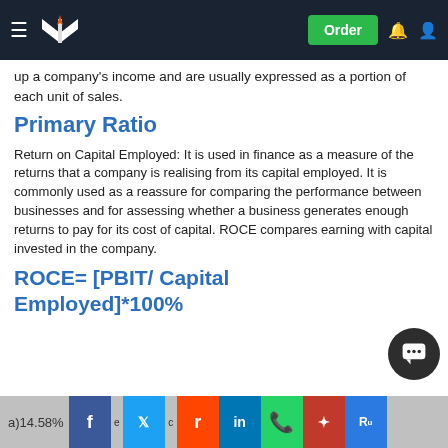Navigation bar with logo, Order button, notification and user icons
up a company's income and are usually expressed as a portion of each unit of sales.
Primary Ratio
Return on Capital Employed: It is used in finance as a measure of the returns that a company is realising from its capital employed. It is commonly used as a reassure for comparing the performance between businesses and for assessing whether a business generates enough returns to pay for its cost of capital. ROCE compares earning with capital invested in the company.
a)14.58% [social share buttons: Facebook, Twitter, Reddit, LinkedIn, WhatsApp, Mix, andere]